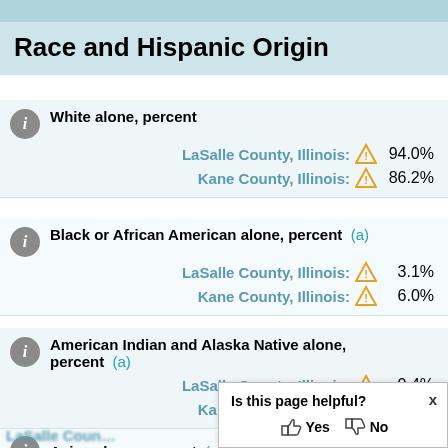Race and Hispanic Origin
White alone, percent — LaSalle County, Illinois: 94.0% | Kane County, Illinois: 86.2%
Black or African American alone, percent (a) — LaSalle County, Illinois: 3.1% | Kane County, Illinois: 6.0%
American Indian and Alaska Native alone, percent (a) — LaSalle County, Illinois: 0.4% | Kane County, Illinois: 1.1%
Asian alone, percent (a)